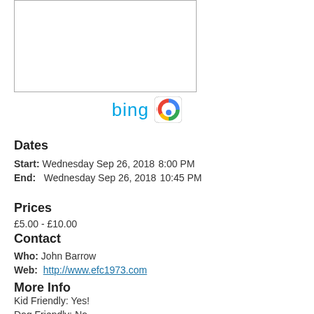[Figure (other): Map placeholder box (white rectangle with border)]
[Figure (logo): Bing and Google search engine logos]
Dates
Start: Wednesday Sep 26, 2018 8:00 PM
End:  Wednesday Sep 26, 2018 10:45 PM
Prices
£5.00 - £10.00
Contact
Who: John Barrow
Web: http://www.efc1973.com
More Info
Kid Friendly: Yes!
Dog Friendly: No